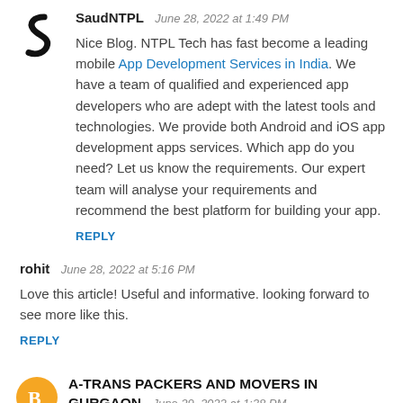SaudNTPL  June 28, 2022 at 1:49 PM
Nice Blog. NTPL Tech has fast become a leading mobile App Development Services in India. We have a team of qualified and experienced app developers who are adept with the latest tools and technologies. We provide both Android and iOS app development apps services. Which app do you need? Let us know the requirements. Our expert team will analyse your requirements and recommend the best platform for building your app.
REPLY
rohit  June 28, 2022 at 5:16 PM
Love this article! Useful and informative. looking forward to see more like this.
REPLY
A-TRANS PACKERS AND MOVERS IN GURGAON  June 29, 2022 at 1:38 PM